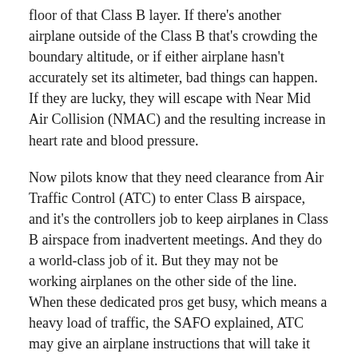floor of that Class B layer. If there's another airplane outside of the Class B that's crowding the boundary altitude, or if either airplane hasn't accurately set its altimeter, bad things can happen. If they are lucky, they will escape with Near Mid Air Collision (NMAC) and the resulting increase in heart rate and blood pressure.
Now pilots know that they need clearance from Air Traffic Control (ATC) to enter Class B airspace, and it's the controllers job to keep airplanes in Class B airspace from inadvertent meetings. And they do a world-class job of it. But they may not be working airplanes on the other side of the line. When these dedicated pros get busy, which means a heavy load of traffic, the SAFO explained, ATC may give an airplane instructions that will take it across the line, which is why pilots must always know where they are relative to that boundary. Why? Because “they may not be advised of such an event during times of high controller workload.”